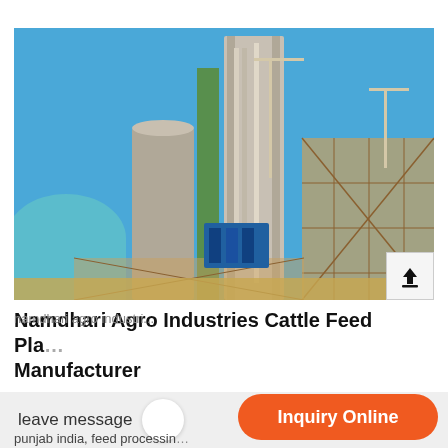[Figure (photo): Industrial cattle feed plant under construction — tall silos, green structural framework, scaffolding, cranes, and blue dome structure under a clear blue sky.]
Namdhari Agro Industries Cattle Feed Plant Manufacturer
punjab india, feed processing
leave message   Inquiry Online